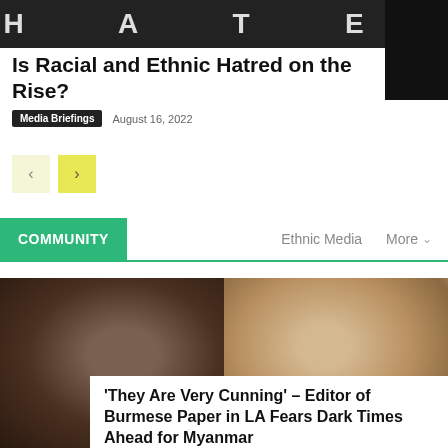[Figure (photo): Black and white close-up photo of knuckles with letters spelling H-A-T-E]
Is Racial and Ethnic Hatred on the Rise?
Media Briefings   August 16, 2022
[Figure (other): Navigation arrow buttons: left arrow (light yellow) and right arrow (yellow)]
COMMUNITY
Ethnic Media   More
[Figure (photo): Two Asian men in a composite photo — left side shows a close-up face in dark tones, right side shows another man in lighter setting]
'They Are Very Cunning' – Editor of Burmese Paper in LA Fears Dark Times Ahead for Myanmar
Spotlight on Ethnic Media   July 28, 2022